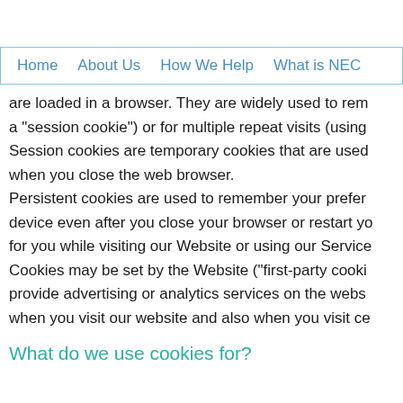Home   About Us   How We Help   What is NEC
are loaded in a browser. They are widely used to remember a "session cookie") or for multiple repeat visits (using Session cookies are temporary cookies that are used when you close the web browser. Persistent cookies are used to remember your preferences device even after you close your browser or restart your for you while visiting our Website or using our Services. Cookies may be set by the Website ("first-party cookies") provide advertising or analytics services on the website when you visit our website and also when you visit certain
What do we use cookies for?